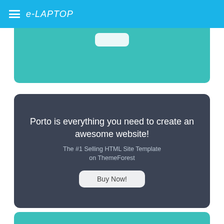e-LAPTOP
[Figure (screenshot): Teal section with a white rounded button partially visible at top]
Porto is everything you need to create an awesome website! The #1 Selling HTML Site Template on ThemeForest
[Figure (other): Buy Now! button on dark card]